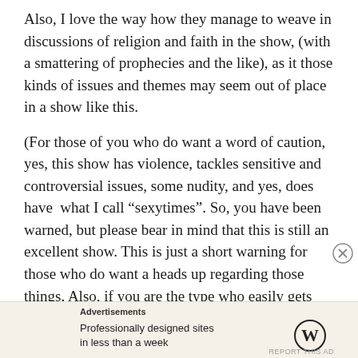Also, I love the way how they manage to weave in discussions of religion and faith in the show, (with a smattering of prophecies and the like), as it those kinds of issues and themes may seem out of place in a show like this.
(For those of you who do want a word of caution, yes, this show has violence, tackles sensitive and controversial issues, some nudity, and yes, does have  what I call “sexytimes”. So, you have been warned, but please bear in mind that this is still an excellent show. This is just a short warning for those who do want a heads up regarding those things. Also, if you are the type who easily gets sucked into the wonderful black hole of fandom.
Advertisements
Professionally designed sites in less than a week